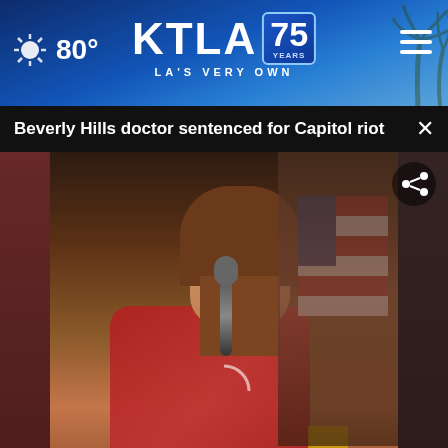KTLA 75 Years — LA'S VERY OWN | 80°
Beverly Hills doctor sentenced for Capitol riot
[Figure (screenshot): Video screenshot of a woman in a red shawl speaking at a microphone with an American flag in the background. Lower third graphic reads 'BEVERLY HILLS DOCTOR SENTENCED' with 'MORNING NEWS' on the right in orange. Weather ticker shows Ventura 60°, Hi:68°, Lo:54°, ktla.com, Moorpark 62°, Hi:74°, Lo:54°, 64°, 5:34.]
Beverly Hills doctor sentenced for Capitol riot
Adopt a teen. You can't imagine the reward.